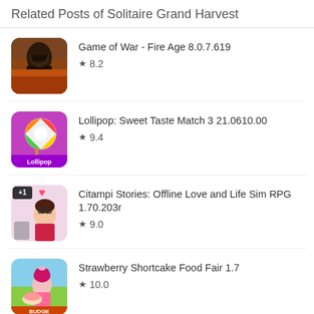Related Posts of Solitaire Grand Harvest
Game of War - Fire Age 8.0.7.619
★ 8.2
Lollipop: Sweet Taste Match 3 21.0610.00
★ 9.4
Citampi Stories: Offline Love and Life Sim RPG 1.70.203r
★ 9.0
Strawberry Shortcake Food Fair 1.7
★ 10.0